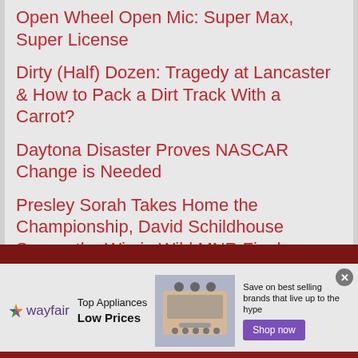Open Wheel Open Mic: Super Max, Super License
Dirty (Half) Dozen: Tragedy at Lancaster & How to Pack a Dirt Track With a Carrot?
Daytona Disaster Proves NASCAR Change is Needed
Presley Sorah Takes Home the Championship, David Schildhouse Scores the Win in Wild MNR Finale
5 Points to Ponder: Just Win, Baby … or Else
[Figure (infographic): Wayfair advertisement banner: Top Appliances Low Prices, with stove image and Shop now button]